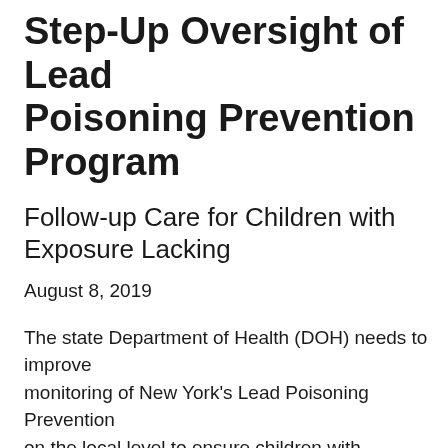Step-Up Oversight of Lead Poisoning Prevention Program
Follow-up Care for Children with Lead Exposure Lacking
August 8, 2019
The state Department of Health (DOH) needs to improve monitoring of New York's Lead Poisoning Prevention program on the local level to ensure children with elevated blood lead levels are receiving required services, according to a report released today by State Comptroller Thomas P. Di…